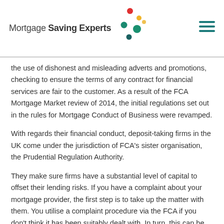Mortgage Saving Experts
the use of dishonest and misleading adverts and promotions, checking to ensure the terms of any contract for financial services are fair to the customer. As a result of the FCA Mortgage Market review of 2014, the initial regulations set out in the rules for Mortgage Conduct of Business were revamped.
With regards their financial conduct, deposit-taking firms in the UK come under the jurisdiction of FCA's sister organisation, the Prudential Regulation Authority.
They make sure firms have a substantial level of capital to offset their lending risks. If you have a complaint about your mortgage provider, the first step is to take up the matter with them. You utilise a complaint procedure via the FCA if you don't think it has been suitably dealt with. In turn, this can be referred to the Financial Ombudsman Service if deemed